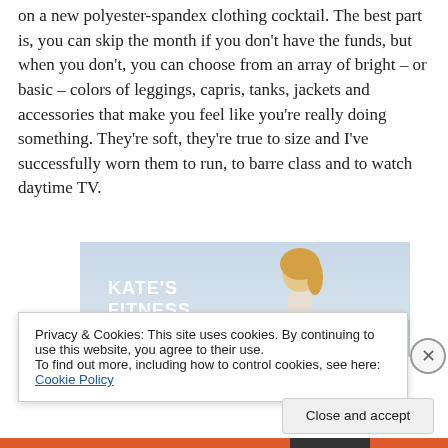on a new polyester-spandex clothing cocktail. The best part is, you can skip the month if you don't have the funds, but when you don't, you can choose from an array of bright – or basic – colors of leggings, capris, tanks, jackets and accessories that make you feel like you're really doing something. They're soft, they're true to size and I've successfully worn them to run, to barre class and to watch daytime TV.
[Figure (photo): Photo showing a blonde woman outdoors with sky background, overlaid with 'KATE'S FITNESS' text in white bold letters]
Privacy & Cookies: This site uses cookies. By continuing to use this website, you agree to their use.
To find out more, including how to control cookies, see here: Cookie Policy
Close and accept